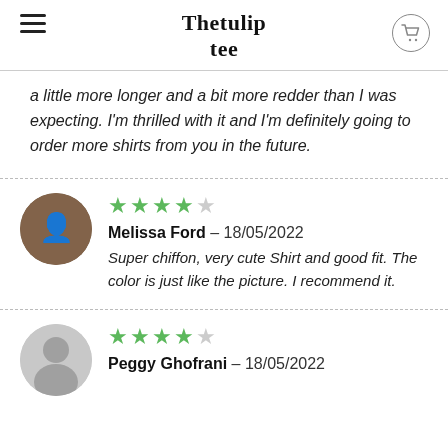Thetulip tee
a little more longer and a bit more redder than I was expecting. I'm thrilled with it and I'm definitely going to order more shirts from you in the future.
[Figure (photo): Circular profile photo of reviewer Melissa Ford]
★★★★☆ Melissa Ford – 18/05/2022 Super chiffon, very cute Shirt and good fit. The color is just like the picture. I recommend it.
[Figure (photo): Circular gray placeholder avatar for reviewer Peggy Ghofrani]
★★★★☆ Peggy Ghofrani – 18/05/2022